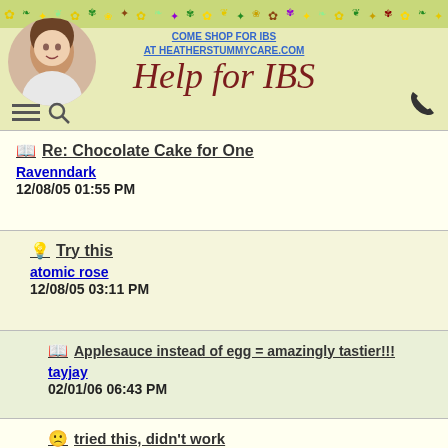COME SHOP FOR IBS AT HEATHERSTUMMYCARE.COM
[Figure (logo): Help for IBS website header with floral decoration, profile photo of woman, site logo in cursive script, navigation icons, and phone icon]
Re: Chocolate Cake for One
Ravenndark
12/08/05 01:55 PM
Try this
atomic rose
12/08/05 03:11 PM
Applesauce instead of egg = amazingly tastier!!!
tayjay
02/01/06 06:43 PM
tried this, didn't work
jen1013
12/13/05 06:36 PM